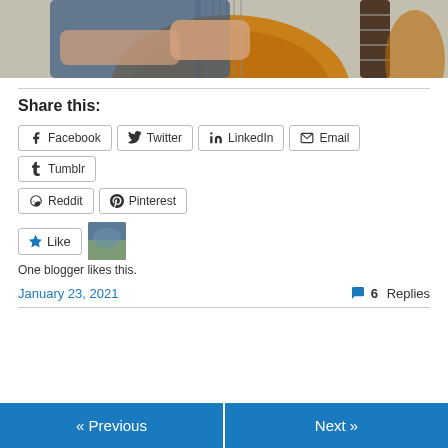[Figure (photo): Partial photo of a person playing classical guitar, cropped to show torso, hands on guitar body and neck, warm brown guitar visible]
Share this:
Facebook  Twitter  LinkedIn  Email  Tumblr  Reddit  Pinterest
One blogger likes this.
January 23, 2021
6 Replies
« Previous
Next »